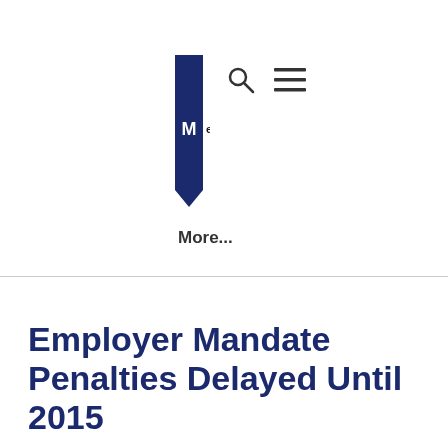[Figure (logo): Medline or similar company logo — dark navy blue bookmark shape with letter M and company name text, accompanied by search and hamburger menu icons]
More...
Employer Mandate Penalties Delayed Until 2015
July 03, 2013